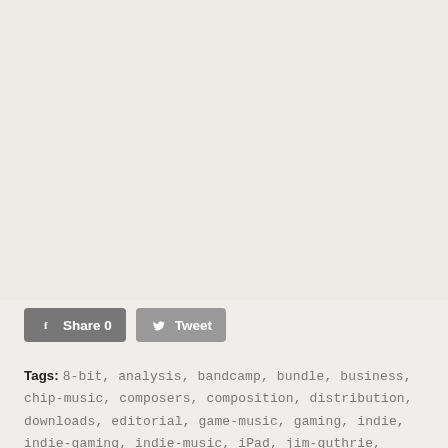[Figure (other): Large empty light gray area at top of the page, likely a placeholder for an image or embedded media]
Share 0  Tweet
Tags: 8-bit, analysis, bandcamp, bundle, business, chip-music, composers, composition, distribution, downloads, editorial, game-music, gaming, indie, indie-gaming, indie-music, iPad, jim-guthrie, interviews, Magnatune, review, NES, Nintendo, PC, opinion...